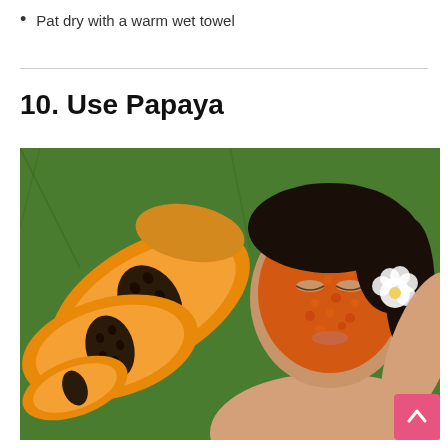Pat dry with a warm wet towel
10. Use Papaya
[Figure (photo): A composite photo showing sliced papaya fruit on green banana leaves on the left, and a woman with a papaya face mask lying on green banana leaves with a white flower in her hair on the right.]